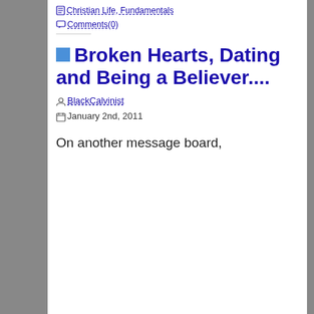Christian Life, Fundamentals
Comments(0)
Broken Hearts, Dating and Being a Believer....
BlackCalvinist January 2nd, 2011
On another message board,